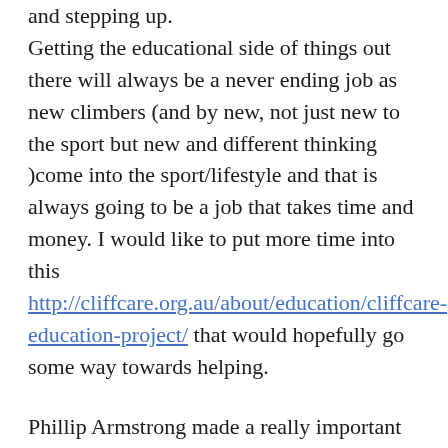and stepping up. Getting the educational side of things out there will always be a never ending job as new climbers (and by new, not just new to the sport but new and different thinking )come into the sport/lifestyle and that is always going to be a job that takes time and money. I would like to put more time into this http://cliffcare.org.au/about/education/cliffcare-education-project/ that would hopefully go some way towards helping.
Phillip Armstrong made a really important point on commercial groups on the online forum and this has been something that has been an issue swirling around in my head for a long